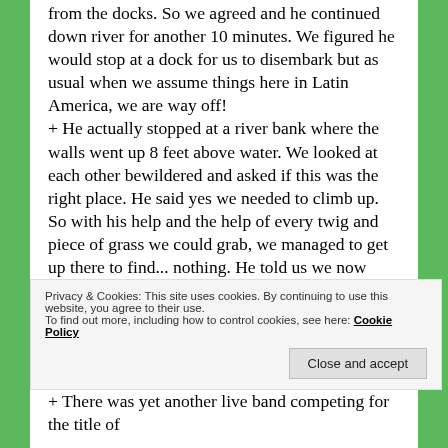from the docks. So we agreed and he continued down river for another 10 minutes. We figured he would stop at a dock for us to disembark but as usual when we assume things here in Latin America, we are way off!
+ He actually stopped at a river bank where the walls went up 8 feet above water. We looked at each other bewildered and asked if this was the right place. He said yes we needed to climb up. So with his help and the help of every twig and piece of grass we could grab, we managed to get up there to find... nothing. He told us we now needed to walk across the (very wet and muddy) field to the road, then down the road to the restaurant. So much for taking us there!
+ So we played hopscotch the best we could across the
Privacy & Cookies: This site uses cookies. By continuing to use this website, you agree to their use.
To find out more, including how to control cookies, see here: Cookie Policy
Close and accept
+ There was yet another live band competing for the title of